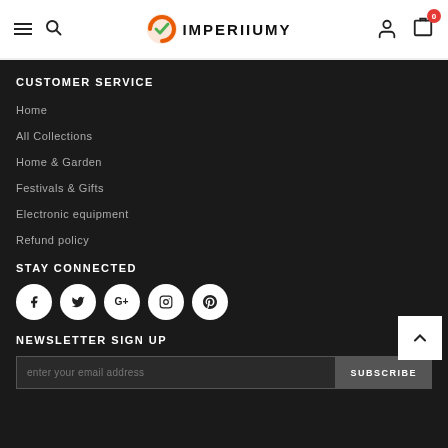IMPERIIUMY - navigation header with hamburger, search, logo, user, cart (0)
CUSTOMER SERVICE
Home
All Collections
Home & Garden
Festivals & Gifts
Electronic equipment
Refund policy
STAY CONNECTED
[Figure (infographic): Five social media icon circles: Facebook, Twitter, Google+, Instagram, Pinterest]
NEWSLETTER SIGN UP
enter your email address | SUBSCRIBE button